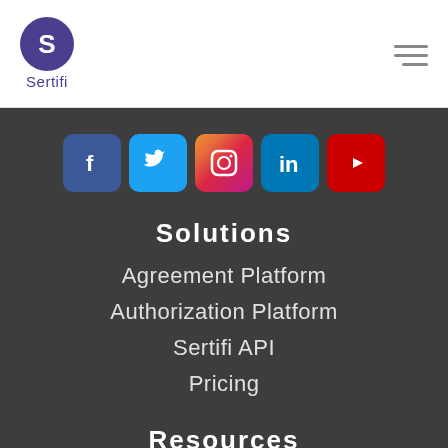Sertifi
[Figure (infographic): Social media icons row: Facebook, Twitter, Instagram, LinkedIn, YouTube]
Solutions
Agreement Platform
Authorization Platform
Sertifi API
Pricing
Resources
Webinars